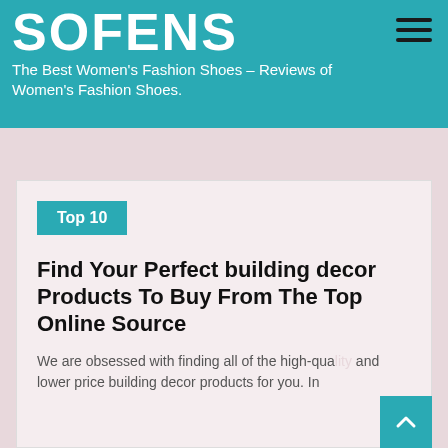SOFENS – The Best Women's Fashion Shoes – Reviews of Women's Fashion Shoes.
Top 10
Find Your Perfect building decor Products To Buy From The Top Online Source
We are obsessed with finding all of the high-quality and lower price building decor products for you. In